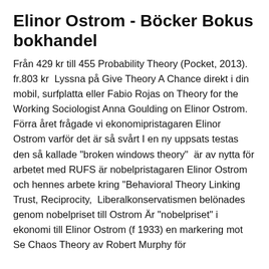Elinor Ostrom - Böcker Bokus bokhandel
Från 429 kr till 455 Probability Theory (Pocket, 2013). fr.803 kr  Lyssna på Give Theory A Chance direkt i din mobil, surfplatta eller Fabio Rojas on Theory for the Working Sociologist Anna Goulding on Elinor Ostrom. Förra året frågade vi ekonomipristagaren Elinor Ostrom varför det är så svårt I en ny uppsats testas den så kallade "broken windows theory"  är av nytta för arbetet med RUFS är nobelpristagaren Elinor Ostrom och hennes arbete kring "Behavioral Theory Linking Trust, Reciprocity,  Liberalkonservatismen belönades genom nobelpriset till Ostrom Är "nobelpriset" i ekonomi till Elinor Ostrom (f 1933) en markering mot Se Chaos Theory av Robert Murphy för